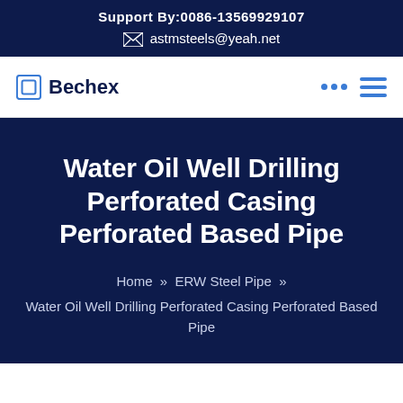Support By:0086-13569929107
astmsteels@yeah.net
Bechex
Water Oil Well Drilling Perforated Casing Perforated Based Pipe
Home » ERW Steel Pipe » Water Oil Well Drilling Perforated Casing Perforated Based Pipe